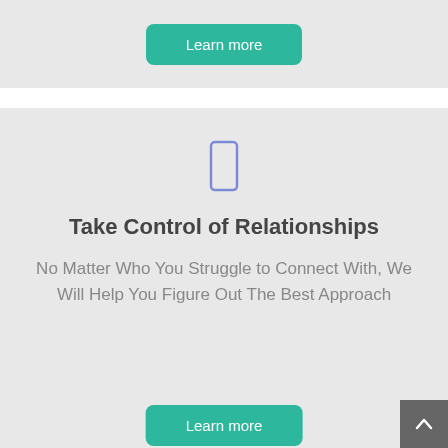[Figure (other): Green 'Learn more' button at the top of the page]
[Figure (other): Blue outlined rectangle icon resembling a mobile phone]
Take Control of Relationships
No Matter Who You Struggle to Connect With, We Will Help You Figure Out The Best Approach
[Figure (other): Green 'Learn more' button at the bottom of the page]
[Figure (other): Dark grey scroll-up arrow button in bottom right corner]